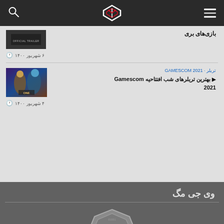VG Mag header with search and menu icons
۶ شهریور ۱۴۰۰
GAMESCOM 2021 · تریلر
▶ بهترین تریلرهای شب افتتاحیه Gamescom 2021
۴ شهریور ۱۴۰۰
وی جی مگ
[Figure (logo): VG Mag circular badge logo with Arabic/Persian script letter in center]